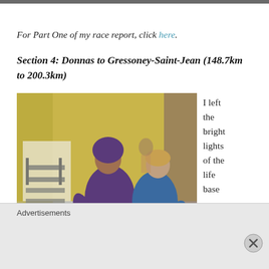[Figure (photo): Top strip of a photo, partially cropped at the top of the page]
For Part One of my race report, click here.
Section 4: Donnas to Gressoney-Saint-Jean (148.7km to 200.3km)
[Figure (photo): Two women at a life base aid station, one in a purple hoodie and one in a blue jacket, sorting gear on a table. Yellow wall in background with cots visible.]
With Jess at Donnas
I left the bright lights of the life base
Advertisements